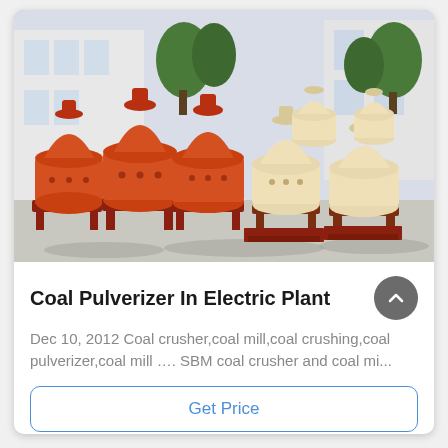[Figure (photo): A factory yard with many industrial coal pulverizer machines arranged in rows. The machines have orange and cream/beige colored conical/bell-shaped bodies mounted on red metal frames. Background shows a building and trees.]
Coal Pulverizer In Electric Plant
Dec 10, 2012 Coal crusher,coal mill,coal crushing,coal pulverizer,coal mill …. SBM coal crusher and coal mi...